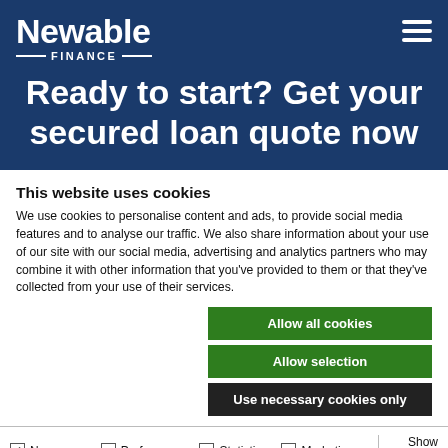[Figure (logo): Newable Finance logo with white text on dark blue background]
Ready to start? Get your secured loan quote now
This website uses cookies
We use cookies to personalise content and ads, to provide social media features and to analyse our traffic. We also share information about your use of our site with our social media, advertising and analytics partners who may combine it with other information that you've provided to them or that they've collected from your use of their services.
Allow all cookies
Allow selection
Use necessary cookies only
Necessary   Preferences   Statistics   Marketing   Show details